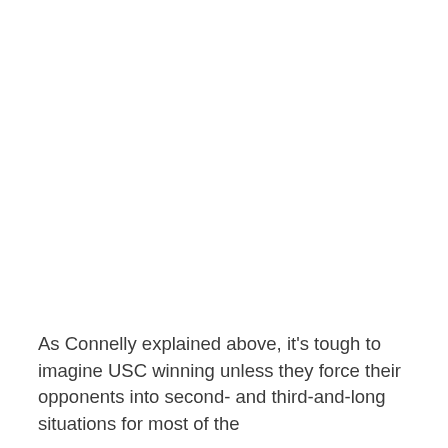As Connelly explained above, it's tough to imagine USC winning unless they force their opponents into second- and third-and-long situations for most of the